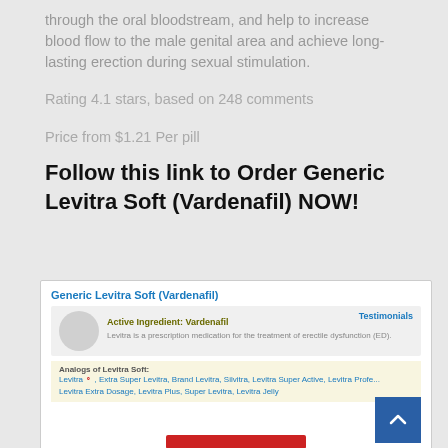through the oral bloodstream, and help to increase blood flow to the male genital area and achieve long-lasting erection during sexual stimulation.
Rating 4.1 stars, based on 248 comments
Price from $1.21 Per pill
Follow this link to Order Generic Levitra Soft (Vardenafil) NOW!
[Figure (screenshot): Screenshot of a webpage showing Generic Levitra Soft (Vardenafil) product listing with active ingredient Vardenafil, testimonials link, product description, analogs list including Levitra, Extra Super Levitra, Brand Levitra, Silvitra, Levitra Super Active, Levitra Professional, Levitra Extra Dosage, Levitra Plus, Super Levitra, Levitra Jelly, and a back-to-top button.]